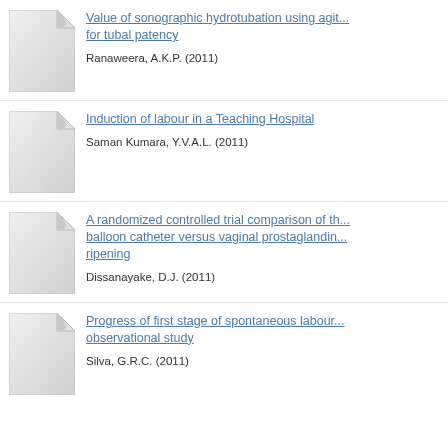Value of sonographic hydrotubation using agit... for tubal patency
Ranaweera, A.K.P. (2011)
Induction of labour in a Teaching Hospital
Saman Kumara, Y.V.A.L. (2011)
A randomized controlled trial comparison of th... balloon catheter versus vaginal prostaglandin... ripening
Dissanayake, D.J. (2011)
Progress of first stage of spontaneous labour... observational study
Silva, G.R.C. (2011)